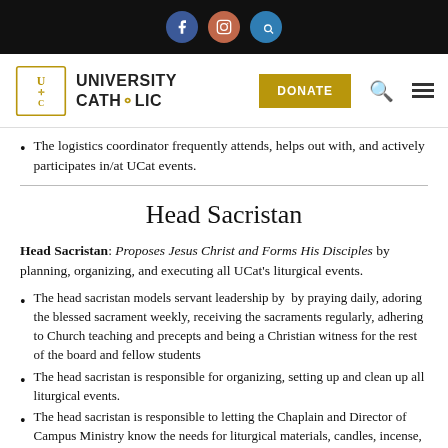[Figure (other): Top black navigation bar with Facebook (blue circle), Instagram (orange circle), and a blue circle (glass/G) social media icons centered.]
[Figure (logo): University Catholic logo with gold emblem and bold text 'UNIVERSITY CATHOLIC', a gold DONATE button, search icon, and hamburger menu icon.]
The logistics coordinator frequently attends, helps out with, and actively participates in/at UCat events.
Head Sacristan
Head Sacristan: Proposes Jesus Christ and Forms His Disciples by planning, organizing, and executing all UCat's liturgical events.
The head sacristan models servant leadership by  by praying daily, adoring the blessed sacrament weekly, receiving the sacraments regularly, adhering to Church teaching and precepts and being a Christian witness for the rest of the board and fellow students
The head sacristan is responsible for organizing, setting up and clean up all liturgical events.
The head sacristan is responsible to letting the Chaplain and Director of Campus Ministry know the needs for liturgical materials, candles, incense, charcoal, etc.